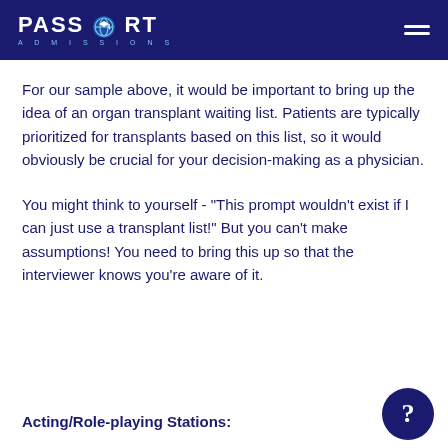PASSPORT ADMISSIONS
For our sample above, it would be important to bring up the idea of an organ transplant waiting list. Patients are typically prioritized for transplants based on this list, so it would obviously be crucial for your decision-making as a physician.
You might think to yourself - "This prompt wouldn't exist if I can just use a transplant list!" But you can't make assumptions! You need to bring this up so that the interviewer knows you're aware of it.
Acting/Role-playing Stations: